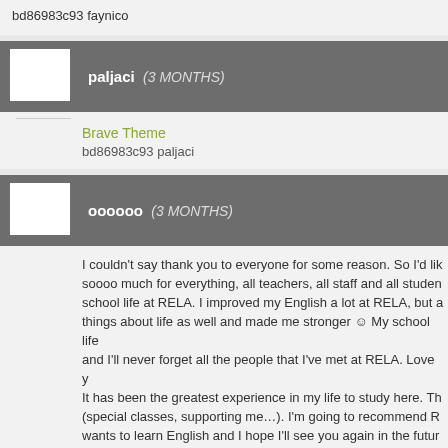bd86983c93 faynico
paljaci   (3 MONTHS)
Brave Theme
bd86983c93 paljaci
oooooo   (3 MONTHS)
I couldn't say thank you to everyone for some reason. So I'd like soooo much for everything, all teachers, all staff and all students school life at RELA. I improved my English a lot at RELA, but a things about life as well and made me stronger ☺ My school life and I'll never forget all the people that I've met at RELA. Love y It has been the greatest experience in my life to study here. Th (special classes, supporting me…). I'm going to recommend R wants to learn English and I hope I'll see you again in the futur "RELA is the most amazing place I know. Thank you Chris to ta you all the office. Thank you my lovely teachers. I think the onh school is how it makes me sad to leave it."
oooooo